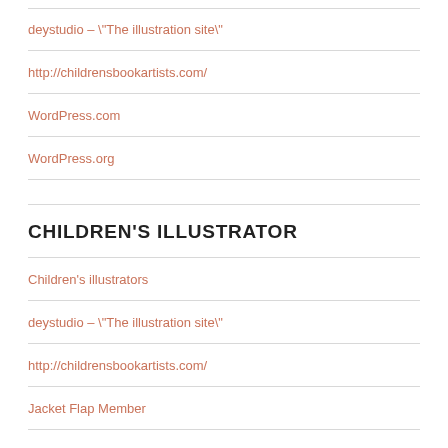deystudio – \"The illustration site\"
http://childrensbookartists.com/
WordPress.com
WordPress.org
CHILDREN'S ILLUSTRATOR
Children's illustrators
deystudio – \"The illustration site\"
http://childrensbookartists.com/
Jacket Flap Member